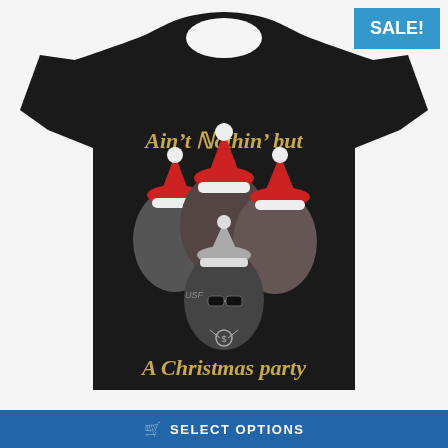[Figure (photo): A black t-shirt with a graphic design featuring four women (Golden Girls characters) wearing Santa hats, with text 'Ain't Nothin' but A Christmas party' in old English gold lettering. A 'SALE!' badge appears in the top right corner in blue.]
SELECT OPTIONS